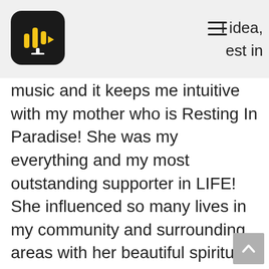idea, est in
music and it keeps me intuitive with my mother who is Resting In Paradise! She was my everything and my most outstanding supporter in LIFE! She influenced so many lives in my community and surrounding areas with her beautiful spiritual voice and her Walk In Life and How She Treated The People She Encountered regularly! Her Motto was “Treat People The Way You Want Them To Treat Your Children” and so that is how I conduct myself and I also teach her teachings! The title itself is my reality and I’m still Dreamin, only it’s coming into a